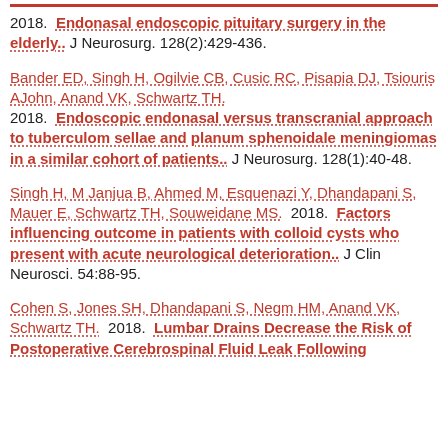2018. Endonasal endoscopic pituitary surgery in the elderly.. J Neurosurg. 128(2):429-436.
Bander ED, Singh H, Ogilvie CB, Cusic RC, Pisapia DJ, Tsiouris AJohn, Anand VK, Schwartz TH. 2018. Endoscopic endonasal versus transcranial approach to tuberculom sellae and planum sphenoidale meningiomas in a similar cohort of patients.. J Neurosurg. 128(1):40-48.
Singh H, M Janjua B, Ahmed M, Esquenazi Y, Dhandapani S, Mauer E, Schwartz TH, Souweidane MS. 2018. Factors influencing outcome in patients with colloid cysts who present with acute neurological deterioration.. J Clin Neurosci. 54:88-95.
Cohen S, Jones SH, Dhandapani S, Negm HM, Anand VK, Schwartz TH. 2018. Lumbar Drains Decrease the Risk of Postoperative Cerebrospinal Fluid Leak Following